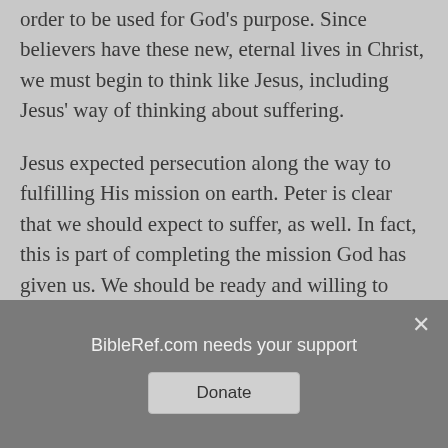order to be used for God's purpose. Since believers have these new, eternal lives in Christ, we must begin to think like Jesus, including Jesus' way of thinking about suffering.
Jesus expected persecution along the way to fulfilling His mission on earth. Peter is clear that we should expect to suffer, as well. In fact, this is part of completing the mission God has given us. We should be ready and willing to suffer for Christ, as He did for us. In doing so, we will set the course of our lives away from sin, especially the mind-
BibleRef.com needs your support
Donate